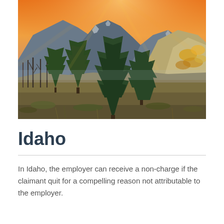[Figure (photo): Landscape photograph of Idaho mountains with pine trees in the foreground, golden autumn foliage on hillside to the right, and a dramatic orange and golden sunset sky above the mountain peaks.]
Idaho
In Idaho, the employer can receive a non-charge if the claimant quit for a compelling reason not attributable to the employer.